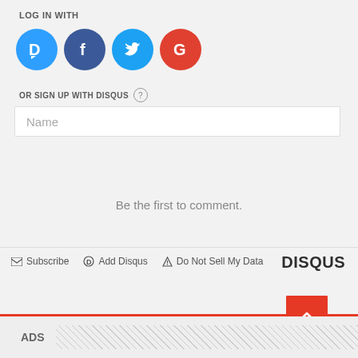LOG IN WITH
[Figure (logo): Social login icons: Disqus (blue D), Facebook (dark blue f), Twitter (light blue bird), Google (red G)]
OR SIGN UP WITH DISQUS (?)
[Figure (screenshot): Name input field placeholder]
Be the first to comment.
Subscribe  Add Disqus  Do Not Sell My Data
DISQUS
ADS